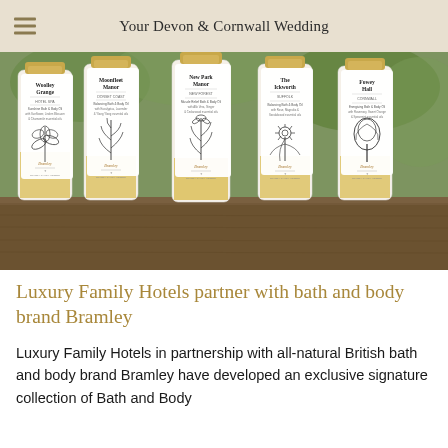Your Devon & Cornwall Wedding
[Figure (photo): Five cylindrical bath and body oil bottles from Bramley, each labeled with a different Luxury Family Hotels property (Woolley Grange, Moonfleet Manor, New Park Manor, The Ickworth, Fowey Hall), displayed on a wooden surface with green foliage in the background. Each bottle has a botanical illustration on the label.]
Luxury Family Hotels partner with bath and body brand Bramley
Luxury Family Hotels in partnership with all-natural British bath and body brand Bramley have developed an exclusive signature collection of Bath and Body